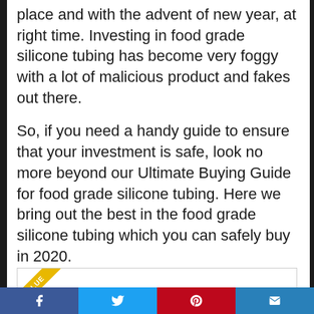place and with the advent of new year, at right time. Investing in food grade silicone tubing has become very foggy with a lot of malicious product and fakes out there.
So, if you need a handy guide to ensure that your investment is safe, look no more beyond our Ultimate Buying Guide for food grade silicone tubing. Here we bring out the best in the food grade silicone tubing which you can safely buy in 2020.
615 reviews analysed
[Figure (other): Product box with VALUE ribbon badge in top-left corner]
Facebook | Twitter | Pinterest | Email social share bar